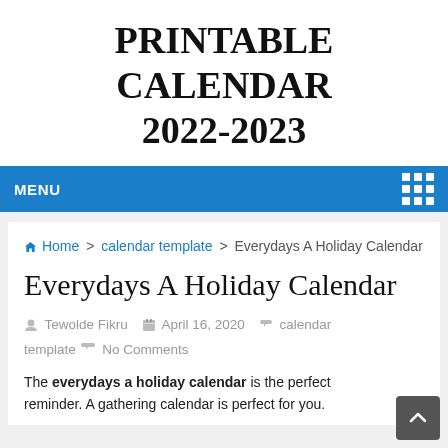PRINTABLE CALENDAR 2022-2023
MENU
Home > calendar template > Everydays A Holiday Calendar
Everydays A Holiday Calendar
Tewolde Fikru  April 16, 2020  calendar template  No Comments
The everydays a holiday calendar is the perfect reminder. A gathering calendar is perfect for you.